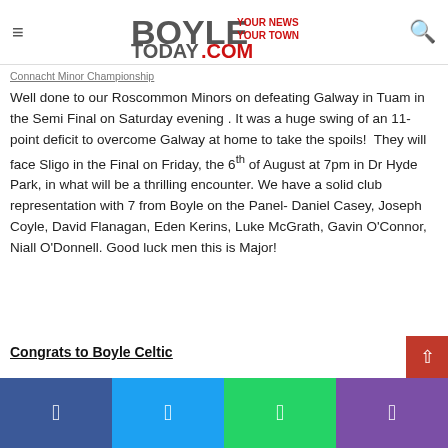BoyleToday.com — Your News Your Town
Connacht Minor Championship
Well done to our Roscommon Minors on defeating Galway in Tuam in the Semi Final on Saturday evening . It was a huge swing of an 11-point deficit to overcome Galway at home to take the spoils!  They will face Sligo in the Final on Friday, the 6th of August at 7pm in Dr Hyde Park, in what will be a thrilling encounter. We have a solid club representation with 7 from Boyle on the Panel- Daniel Casey, Joseph Coyle, David Flanagan, Eden Kerins, Luke McGrath, Gavin O'Connor, Niall O'Donnell. Good luck men this is Major!
Congrats to Boyle Celtic